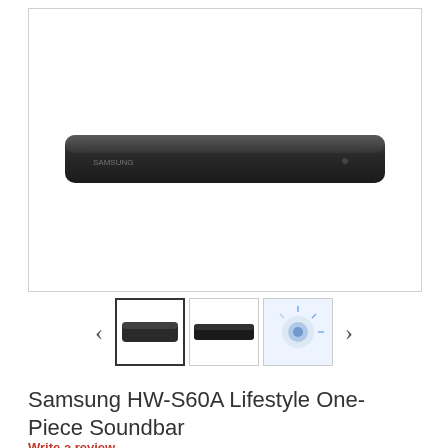[Figure (photo): Samsung HW-S60A Lifestyle One-Piece Soundbar product photo showing a slim black soundbar on white background]
[Figure (photo): Thumbnail gallery with three images: main product photo (selected/active), close-up of soundbar edge, and blue speaker detail image]
Samsung HW-S60A Lifestyle One-Piece Soundbar
Write a review
List price: £299.00
£269.00
Saving: £30.00 (10%)